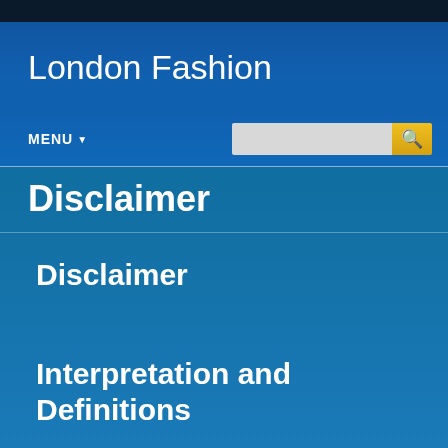London Fashion
MENU ▼
Disclaimer
Disclaimer
Interpretation and Definitions